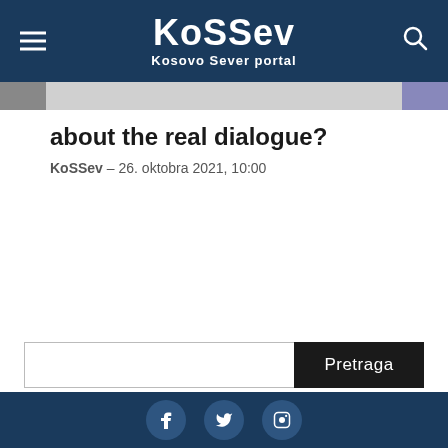KoSSev – Kosovo Sever portal
about the real dialogue?
KoSSev – 26. oktobra 2021, 10:00
Pretraga (search bar and footer)